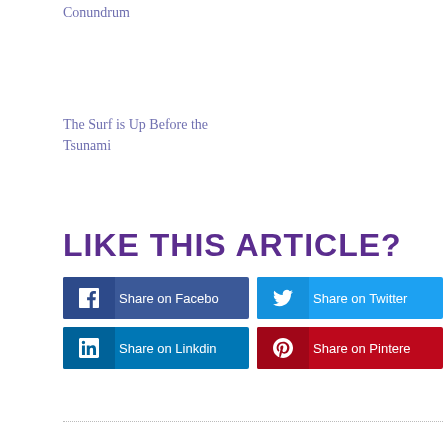Conundrum
The Surf is Up Before the Tsunami
LIKE THIS ARTICLE?
Share on Facebook | Share on Twitter | Share on Linkdin | Share on Pinterest